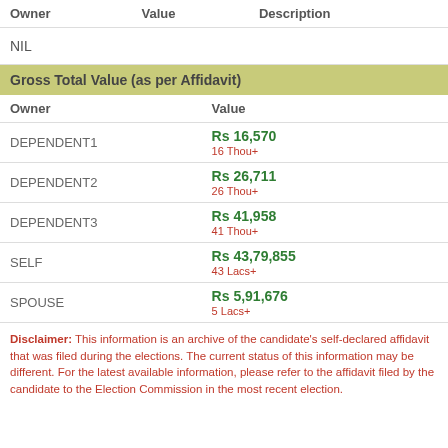| Owner | Value | Description |
| --- | --- | --- |
| NIL |  |  |
Gross Total Value (as per Affidavit)
| Owner | Value |
| --- | --- |
| DEPENDENT1 | Rs 16,570
16 Thou+ |
| DEPENDENT2 | Rs 26,711
26 Thou+ |
| DEPENDENT3 | Rs 41,958
41 Thou+ |
| SELF | Rs 43,79,855
43 Lacs+ |
| SPOUSE | Rs 5,91,676
5 Lacs+ |
Disclaimer: This information is an archive of the candidate’s self-declared affidavit that was filed during the elections. The current status of this information may be different. For the latest available information, please refer to the affidavit filed by the candidate to the Election Commission in the most recent election.